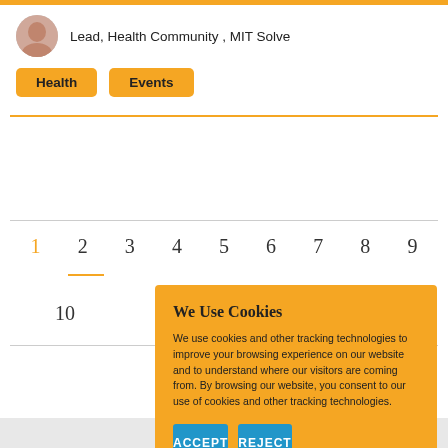Lead, Health Community , MIT Solve
Health
Events
1 2 3 4 5 6 7 8 9
10
We Use Cookies
We use cookies and other tracking technologies to improve your browsing experience on our website and to understand where our visitors are coming from. By browsing our website, you consent to our use of cookies and other tracking technologies.
ACCEPT
REJECT